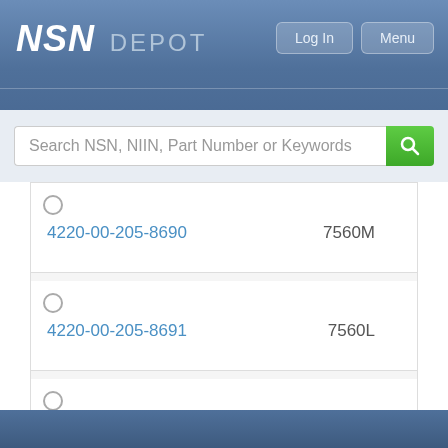NSN DEPOT
Search NSN, NIIN, Part Number or Keywords
4220-00-205-8690  7560M
4220-00-205-8691  7560L
4220-00-205-8698  7560XL